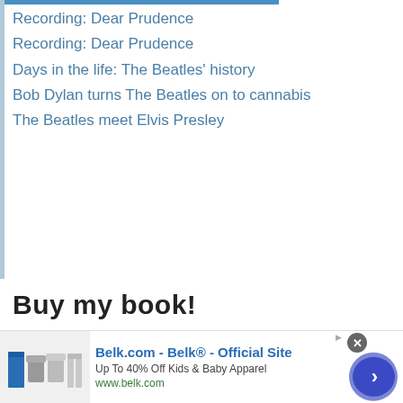Recording: Dear Prudence
Recording: Dear Prudence
Days in the life: The Beatles' history
Bob Dylan turns The Beatles on to cannabis
The Beatles meet Elvis Presley
Buy my book!
The acclaimed Amazon bestseller
Riding So High – The Beatles and Drugs
By the creator of the Beatles Bible.
Buy now:
Paperback | Ebook
[Figure (illustration): Five gold star rating icons]
[Figure (photo): Book cover of 'Riding So High – The Beatles and Drugs' by Joe Goodden, showing colorful psychedelic sunglasses on a grey background]
Belk.com - Belk® - Official Site
Up To 40% Off Kids & Baby Apparel
www.belk.com